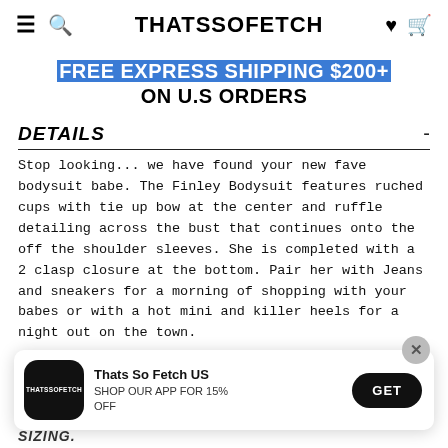THATSSOFETCH
FREE EXPRESS SHIPPING $200+ ON U.S ORDERS
DETAILS
Stop looking... we have found your new fave bodysuit babe. The Finley Bodysuit features ruched cups with tie up bow at the center and ruffle detailing across the bust that continues onto the off the shoulder sleeves. She is completed with a 2 clasp closure at the bottom. Pair her with Jeans and sneakers for a morning of shopping with your babes or with a hot mini and killer heels for a night out on the town.
[Figure (screenshot): App install banner: Thats So Fetch US app icon, text 'SHOP OUR APP FOR 15% OFF', GET button]
SIZING.